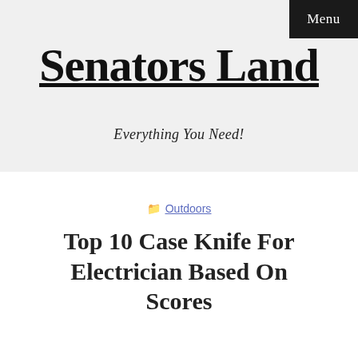Menu
Senators Land
Everything You Need!
📁 Outdoors
Top 10 Case Knife For Electrician Based On Scores